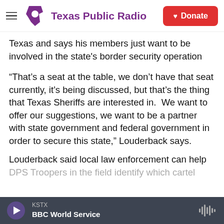Texas Public Radio | Donate
Texas and says his members just want to be involved in the state's border security operation
“That’s a seat at the table, we don’t have that seat currently, it’s being discussed, but that’s the thing that Texas Sheriffs are interested in.  We want to offer our suggestions, we want to be a partner with state government and federal government in order to secure this state,” Louderback says.
Louderback said local law enforcement can help DPS Troopers in the field identify which cartel
KSTX | BBC World Service